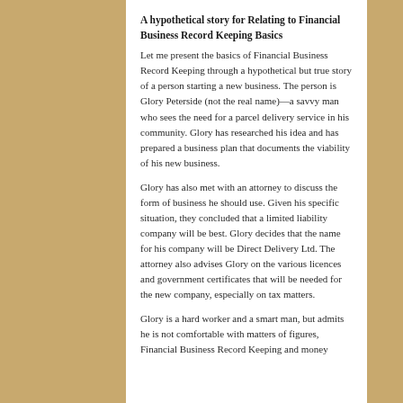A hypothetical story for Relating to Financial Business Record Keeping Basics
Let me present the basics of Financial Business Record Keeping through a hypothetical but true story of a person starting a new business. The person is Glory Peterside (not the real name)—a savvy man who sees the need for a parcel delivery service in his community. Glory has researched his idea and has prepared a business plan that documents the viability of his new business.
Glory has also met with an attorney to discuss the form of business he should use. Given his specific situation, they concluded that a limited liability company will be best. Glory decides that the name for his company will be Direct Delivery Ltd. The attorney also advises Glory on the various licences and government certificates that will be needed for the new company, especially on tax matters.
Glory is a hard worker and a smart man, but admits he is not comfortable with matters of figures, Financial Business Record Keeping and money